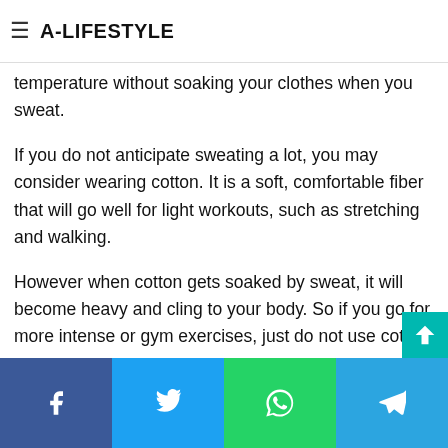A-LIFESTYLE
There are some lines of workout clothing combining MAXD or SUPPLEX fibers. They are a great choice that can help you manage your body temperature without soaking your clothes when you sweat.
If you do not anticipate sweating a lot, you may consider wearing cotton. It is a soft, comfortable fiber that will go well for light workouts, such as stretching and walking.
However when cotton gets soaked by sweat, it will become heavy and cling to your body. So if you go for more intense or gym exercises, just do not use cotton.
Choose clothes according to your needs
Facebook Twitter WhatsApp Telegram